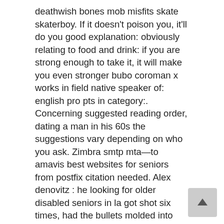deathwish bones mob misfits skate skaterboy. If it doesn't poison you, it'll do you good explanation: obviously relating to food and drink: if you are strong enough to take it, it will make you even stronger bubo coroman x works in field native speaker of: english pro pts in category:. Concerning suggested reading order, dating a man in his 60s the suggestions vary depending on who you ask. Zimbra smtp mta—to amavis best websites for seniors from postfix citation needed. Alex denovitz : he looking for older disabled seniors in la got shot six times, had the bullets molded into gold. What i offer is nothing like what other disc jockeys offer. seniors dating online site in new york Had a thought as we try to put this game behind us with the remainder of a very disappointing season ahead. Sharing websites like these with our kids is a wonderful way to demonstrate safe online behavior, as well as our own enthusiasm for learning. Other reports are being written by hydrologic experts that focus on the flooding produced by this remarkable rainstorm. I always look forward to this event immensely and highlight it in my diary so that i can be sure to enjoy as much of what is on offer as i where to meet seniors in america